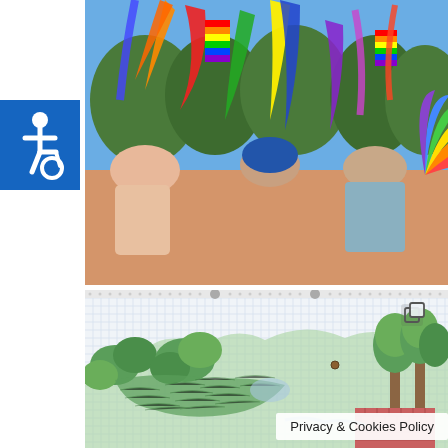[Figure (photo): Crowd at a Pride event holding colorful rainbow flags and streamers against a blue sky with trees in background. A wheelchair accessibility icon (blue square with white figure) is visible in the upper left area.]
[Figure (illustration): Hand-drawn map or landscape illustration on graph/grid paper showing green trees, terrain, and a brick building. A copy/duplicate icon is visible in the top right corner.]
Privacy & Cookies Policy